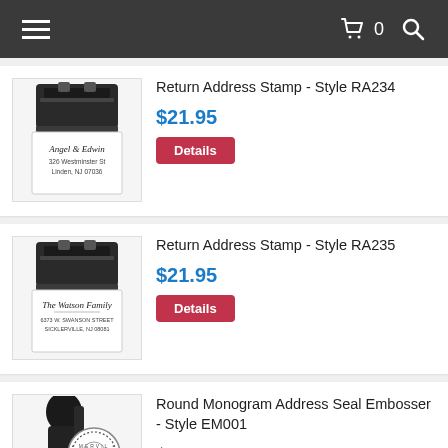Navigation bar with hamburger menu, cart (0), and search icon
[Figure (photo): Self-inking rubber stamp product image - Return Address Stamp Style RA234, showing black stamp with sample imprint: Angel & Edwin, 326 Westminster St, Linden, NJ 07036]
Return Address Stamp - Style RA234
$21.95
Details
[Figure (photo): Self-inking rubber stamp product image - Return Address Stamp Style RA235, showing black stamp with sample imprint: The Watson Family, 6373 W. Swanson Street, Sicklerville, NJ 08081]
Return Address Stamp - Style RA235
$21.95
Details
[Figure (photo): Round Monogram Address Seal Embosser product image - Style EM001, showing a handheld embosser with circular seal showing MERVIL]
Round Monogram Address Seal Embosser - Style EM001
$32.95